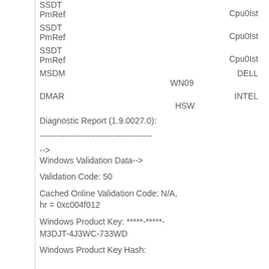SSDT PmRef    Cpu0Ist
SSDT PmRef    Cpu0Ist
SSDT PmRef    Cpu0Ist
MSDM    DELL
    WN09
DMAR    INTEL
    HSW
Diagnostic Report (1.9.0027.0):
----------------------------------------
Windows Validation Data-->
Validation Code: 50
Cached Online Validation Code: N/A, hr = 0xc004f012
Windows Product Key: *****-*****-M3DJT-4J3WC-733WD
Windows Product Key Hash: